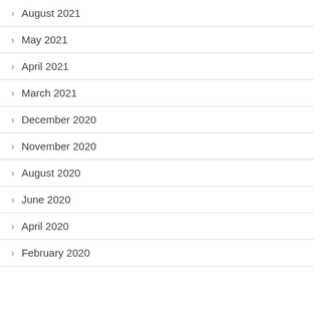August 2021
May 2021
April 2021
March 2021
December 2020
November 2020
August 2020
June 2020
April 2020
February 2020